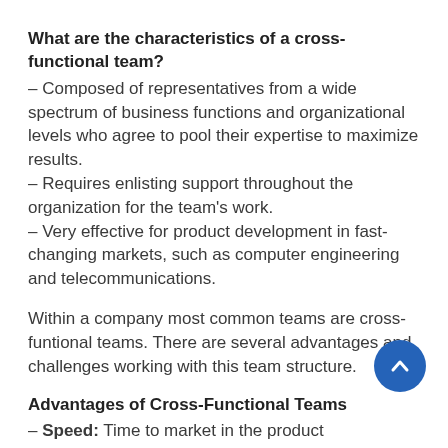What are the characteristics of a cross-functional team?
– Composed of representatives from a wide spectrum of business functions and organizational levels who agree to pool their expertise to maximize results.
– Requires enlisting support throughout the organization for the team's work.
– Very effective for product development in fast-changing markets, such as computer engineering and telecommunications.
Within a company most common teams are cross-funtional teams. There are several advantages and challenges working with this team structure.
Advantages of Cross-Functional Teams
– Speed: Time to market in the product development cycle reduced by replacing serial development with parallel development.
– Complexity: Complex business problems solved and